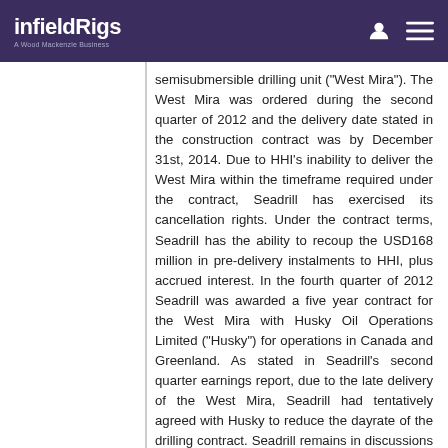infieldRigs — A Wood Mackenzie Business
semisubmersible drilling unit ("West Mira"). The West Mira was ordered during the second quarter of 2012 and the delivery date stated in the construction contract was by December 31st, 2014. Due to HHI's inability to deliver the West Mira within the timeframe required under the contract, Seadrill has exercised its cancellation rights. Under the contract terms, Seadrill has the ability to recoup the USD168 million in pre-delivery instalments to HHI, plus accrued interest. In the fourth quarter of 2012 Seadrill was awarded a five year contract for the West Mira with Husky Oil Operations Limited ("Husky") for operations in Canada and Greenland. As stated in Seadrill's second quarter earnings report, due to the late delivery of the West Mira, Seadrill had tentatively agreed with Husky to reduce the dayrate of the drilling contract. Seadrill remains in discussions with Husky to find an alternative solution to meet its drilling requirements.